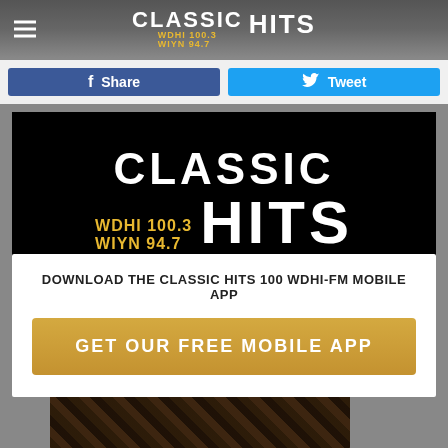CLASSIC HITS WDHI 100.3 WIYN 94.7
Share
Tweet
[Figure (logo): Classic Hits WDHI 100.3 WIYN 94.7 logo on black background]
DOWNLOAD THE CLASSIC HITS 100 WDHI-FM MOBILE APP
GET OUR FREE MOBILE APP
[Figure (photo): Dark brown photo of musical instruments or equipment at bottom of page]